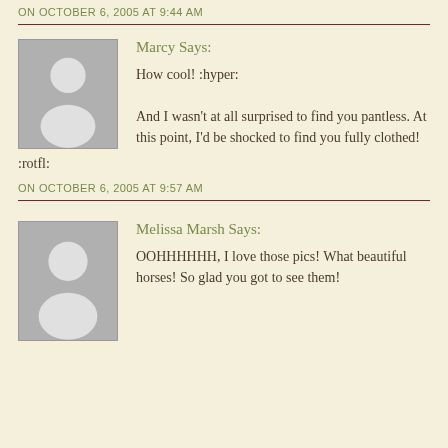ON OCTOBER 6, 2005 AT 9:44 AM
[Figure (illustration): Generic user avatar placeholder - grey square with white silhouette person icon]
Marcy Says:
How cool! :hyper:

And I wasn't at all surprised to find you pantless. At this point, I'd be shocked to find you fully clothed! :rotfl:
ON OCTOBER 6, 2005 AT 9:57 AM
[Figure (illustration): Generic user avatar placeholder - grey square with white silhouette person icon]
Melissa Marsh Says:
OOHHHHHH, I love those pics! What beautiful horses! So glad you got to see them!